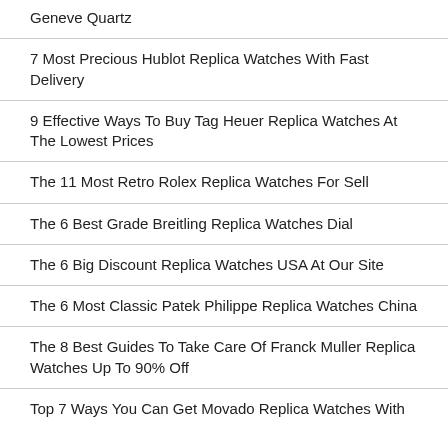Geneve Quartz
7 Most Precious Hublot Replica Watches With Fast Delivery
9 Effective Ways To Buy Tag Heuer Replica Watches At The Lowest Prices
The 11 Most Retro Rolex Replica Watches For Sell
The 6 Best Grade Breitling Replica Watches Dial
The 6 Big Discount Replica Watches USA At Our Site
The 6 Most Classic Patek Philippe Replica Watches China
The 8 Best Guides To Take Care Of Franck Muller Replica Watches Up To 90% Off
Top 7 Ways You Can Get Movado Replica Watches With